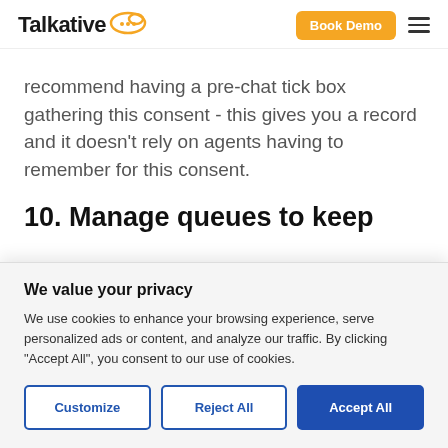Talkative — Book Demo
recommend having a pre-chat tick box gathering this consent - this gives you a record and it doesn't rely on agents having to remember for this consent.
10. Manage queues to keep
We value your privacy
We use cookies to enhance your browsing experience, serve personalized ads or content, and analyze our traffic. By clicking "Accept All", you consent to our use of cookies.
Customize | Reject All | Accept All